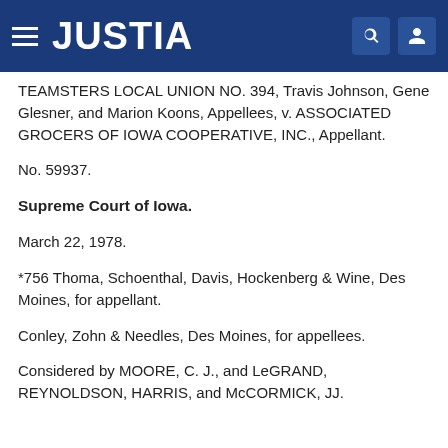JUSTIA
TEAMSTERS LOCAL UNION NO. 394, Travis Johnson, Gene Glesner, and Marion Koons, Appellees, v. ASSOCIATED GROCERS OF IOWA COOPERATIVE, INC., Appellant.
No. 59937.
Supreme Court of Iowa.
March 22, 1978.
*756 Thoma, Schoenthal, Davis, Hockenberg & Wine, Des Moines, for appellant.
Conley, Zohn & Needles, Des Moines, for appellees.
Considered by MOORE, C. J., and LeGRAND, REYNOLDSON, HARRIS, and McCORMICK, JJ.